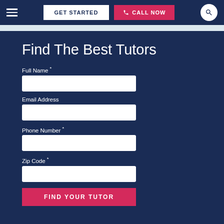GET STARTED | CALL NOW
Find The Best Tutors
Full Name *
Email Address
Phone Number *
Zip Code *
FIND YOUR TUTOR